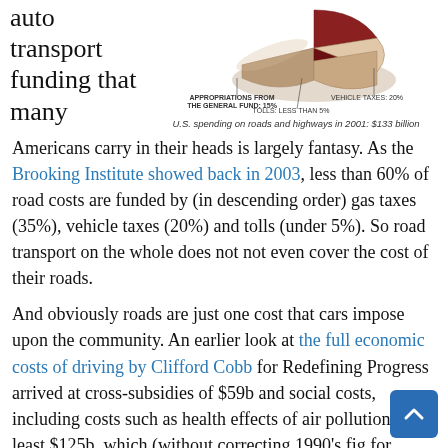auto transport funding that many
[Figure (pie-chart): 3D pie chart showing U.S. spending on roads and highways in 2001 ($133 billion). Slices: Appropriations from the General Fund 15% (dark red), Tolls less than 5% (beige), Vehicle Taxes 20% (beige/tan).]
U.S. spending on roads and highways in 2001: $133 billion
Americans carry in their heads is largely fantasy. As the Brooking Institute showed back in 2003, less than 60% of road costs are funded by (in descending order) gas taxes (35%), vehicle taxes (20%) and tolls (under 5%). So road transport on the whole does not not even cover the cost of their roads.
And obviously roads are just one cost that cars impose upon the community. An earlier look at the full economic costs of driving by Clifford Cobb for Redefining Progress arrived at cross-subsidies of $59b and social costs, including costs such as health effects of air pollution, of at least $125b, which (without correcting 1990's figures for inflation) means subsidy and free riding worth $1,260 to $2,495 per driver.